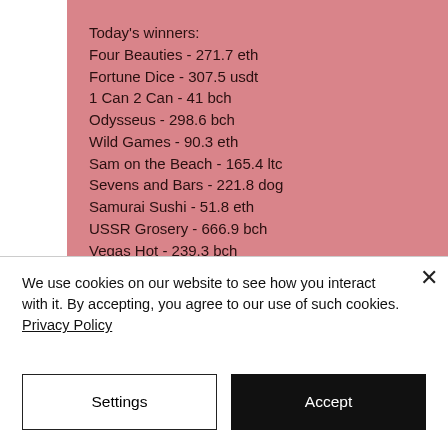Today's winners:
Four Beauties - 271.7 eth
Fortune Dice - 307.5 usdt
1 Can 2 Can - 41 bch
Odysseus - 298.6 bch
Wild Games - 90.3 eth
Sam on the Beach - 165.4 ltc
Sevens and Bars - 221.8 dog
Samurai Sushi - 51.8 eth
USSR Grosery - 666.9 bch
Vegas Hot - 239.3 bch
EggOMatic - 260.3 usdt
Kamchatka - 293.7 eth
We use cookies on our website to see how you interact with it. By accepting, you agree to our use of such cookies. Privacy Policy
Settings
Accept